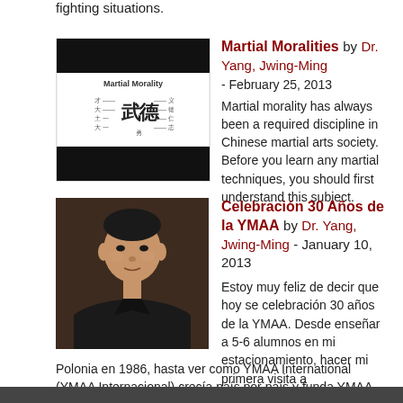fighting situations.
[Figure (photo): Book cover image for Martial Morality showing Chinese characters]
Martial Moralities by Dr. Yang, Jwing-Ming - February 25, 2013
Martial morality has always been a required discipline in Chinese martial arts society. Before you learn any martial techniques, you should first understand this subject.
[Figure (photo): Portrait photo of Dr. Yang, Jwing-Ming]
Celebración 30 Años de la YMAA by Dr. Yang, Jwing-Ming - January 10, 2013
Estoy muy feliz de decir que hoy se celebración 30 años de la YMAA. Desde enseñar a 5-6 alumnos en mi estacionamiento, hacer mi primera visita a Polonia en 1986, hasta ver como YMAA International (YMAA Internacional) crecía país por país y funda YMAA Publication Center (Centro de Publicaciones YMAA), publicando muchos libros, videos y artículos, han sido 30 años lleno de hitos.